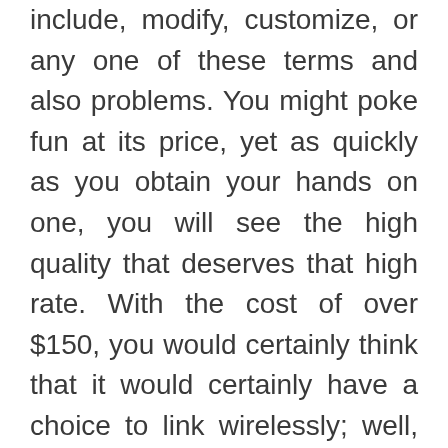include, modify, customize, or any one of these terms and also problems. You might poke fun at its price, yet as quickly as you obtain your hands on one, you will see the high quality that deserves that high rate. With the cost of over $150, you would certainly think that it would certainly have a choice to link wirelessly; well, No, you can not.

The same holds for the gaming consoles, which have actually been fixed and gone back to the customer. Additionally, if you are not stressed concerning that high price, there hasn't been a far better controller